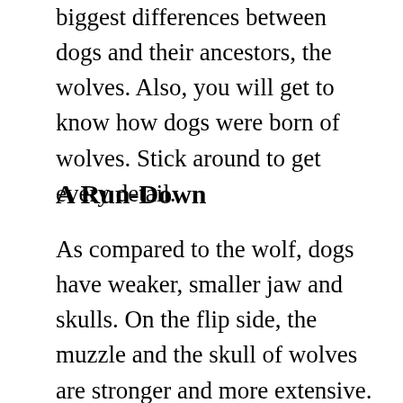biggest differences between dogs and their ancestors, the wolves. Also, you will get to know how dogs were born of wolves. Stick around to get every detail.
A Run-Down
As compared to the wolf, dogs have weaker, smaller jaw and skulls. On the flip side, the muzzle and the skull of wolves are stronger and more extensive. The species of the dog is Canis lupus familiaris, which can be paralleled to Canis lupus, the wolf species. In terms of speed, the dog clocks between 20 and 45 mph while the wolf goes for 31 to 37